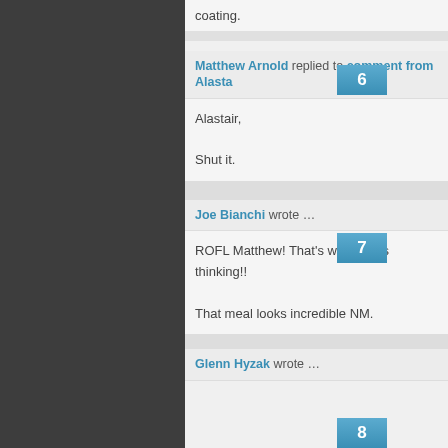coating.
Matthew Arnold replied to comment from Alasta…
Alastair,

Shut it.
Joe Bianchi wrote …
ROFL Matthew! That's what I was thinking!!

That meal looks incredible NM.
Glenn Hyzak wrote…